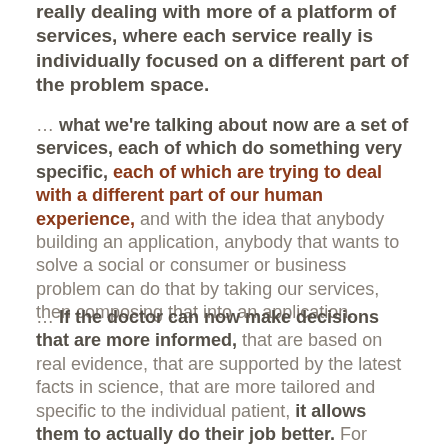really dealing with more of a platform of services, where each service really is individually focused on a different part of the problem space.
… what we're talking about now are a set of services, each of which do something very specific, each of which are trying to deal with a different part of our human experience, and with the idea that anybody building an application, anybody that wants to solve a social or consumer or business problem can do that by taking our services, then composing that into an application.
… If the doctor can now make decisions that are more informed, that are based on real evidence, that are supported by the latest facts in science, that are more tailored and specific to the individual patient, it allows them to actually do their job better. For radiologists, it may allow them to see things in the image